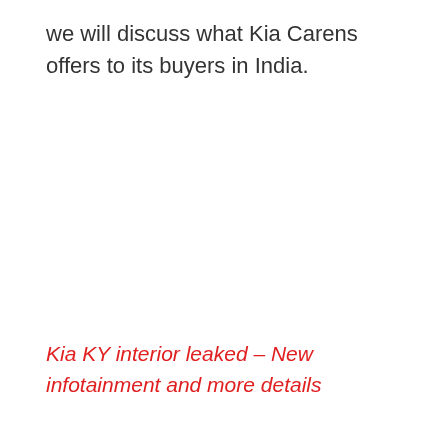we will discuss what Kia Carens offers to its buyers in India.
Kia KY interior leaked – New infotainment and more details